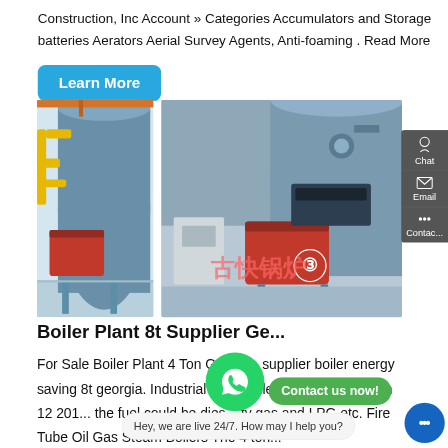Construction, Inc Account » Categories Accumulators and Storage batteries Aerators Aerial Survey Agents, Anti-foaming . Read More
Learn More
[Figure (photo): Two industrial gas/oil fired boiler units in a factory setting. Left image shows a boiler with yellow pipes and red burner unit. Right image shows a larger boiler with red burner unit marked with number 3, with Chinese text overlay.]
Boiler Plant 8t Supplier Ge...
For Sale Boiler Plant 4 Ton Georgia. supplier boiler energy saving 8t georgia. Industrial Coal Boiler manufacturer. Jun 12 201... the fuel could be dies... ty gas and LPG etc. Fire Tube Oil Gas Steam Boilers The 4 ton...
Hey, we are live 24/7. How may I help you?